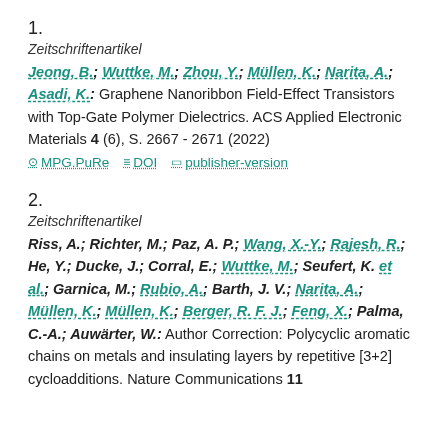1.
Zeitschriftenartikel
Jeong, B.; Wuttke, M.; Zhou, Y.; Müllen, K.; Narita, A.; Asadi, K.: Graphene Nanoribbon Field-Effect Transistors with Top-Gate Polymer Dielectrics. ACS Applied Electronic Materials 4 (6), S. 2667 - 2671 (2022)
MPG.PuRe   DOI   publisher-version
2.
Zeitschriftenartikel
Riss, A.; Richter, M.; Paz, A. P.; Wang, X.-Y.; Rajesh, R.; He, Y.; Ducke, J.; Corral, E.; Wuttke, M.; Seufert, K. et al.; Garnica, M.; Rubio, A.; Barth, J. V.; Narita, A.; Müllen, K.; Müllen, K.; Berger, R. F. J.; Feng, X.; Palma, C.-A.; Auwärter, W.: Author Correction: Polycyclic aromatic chains on metals and insulating layers by repetitive [3+2] cycloadditions. Nature Communications 11